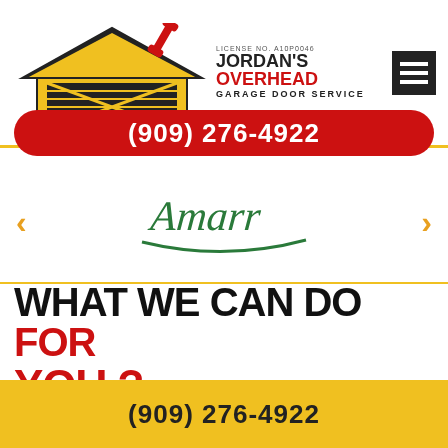[Figure (logo): Jordan's Overhead Garage Door Service logo with house/garage icon and wrench, license no. A10P0046]
(909) 276-4922
[Figure (logo): Amarr brand logo in green italic script with swoosh underline]
WHAT WE CAN DO FOR YOU ?
(909) 276-4922